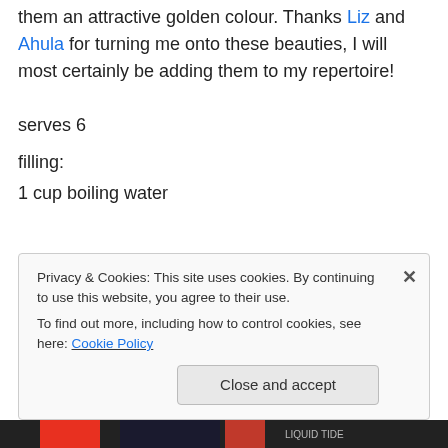them an attractive golden colour. Thanks Liz and Ahula for turning me onto these beauties, I will most certainly be adding them to my repertoire!
serves 6
filling:
1 cup boiling water
Privacy & Cookies: This site uses cookies. By continuing to use this website, you agree to their use.
To find out more, including how to control cookies, see here: Cookie Policy